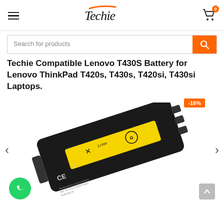Techie (logo with hamburger menu and cart icon)
Search for products
Techie Compatible Lenovo T430S Battery for Lenovo ThinkPad T420s, T430s, T420si, T430si Laptops.
[Figure (photo): Product photo of a black Lenovo-compatible laptop battery (ThinkPad T430S/T420s/T430s/T420si/T430si) with a yellow Li-ion label, CE marking, and safety symbols. Shown at an angle on white background. -16% discount badge in orange top right. Left and right navigation arrows. WhatsApp chat button bottom left.]